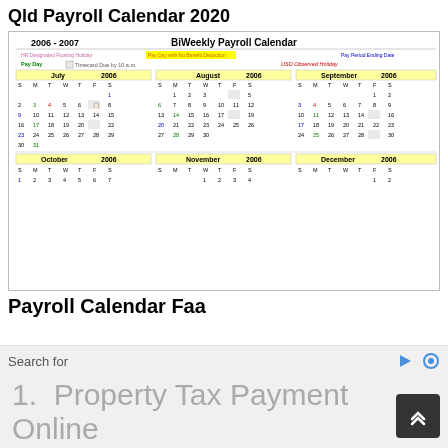Qld Payroll Calendar 2020
[Figure (table-as-image): BiWeekly Payroll Calendar 2006-2007 showing months July through December 2006 with color-coded pay days, holidays, and timecard due dates]
Payroll Calendar Faa
Tags: payroll calendar tulane
Search for
1.  Property Tax Payment Online